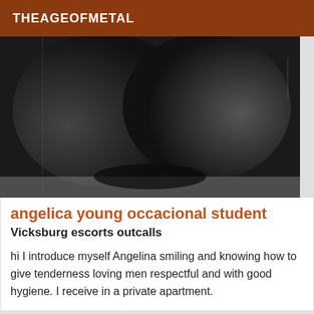THEAGEOFMETAL
[Figure (photo): Black and white close-up photograph used as listing image]
angelica young occacional student
Vicksburg escorts outcalls
hi I introduce myself Angelina smiling and knowing how to give tenderness loving men respectful and with good hygiene. I receive in a private apartment.
[Figure (photo): Gray partially visible second listing photo with Online badge]
Online